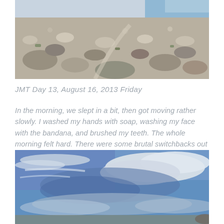[Figure (photo): Rocky mountain trail landscape with grey granite boulders and rocky terrain, sparse vegetation, high altitude alpine scenery]
JMT Day 13, August 16, 2013 Friday
In the morning, we slept in a bit, then got moving rather slowly. I washed my hands with soap, washing my face with the bandana, and brushed my teeth. The whole morning felt hard. There were some brutal switchbacks out of the gate, climbing out of Evolution Valley. We had breakfast just before them, which restored my energy but made me feel queasy on the climb.
[Figure (photo): Blue sky with dramatic white clouds over a mountain landscape, wide panoramic view]